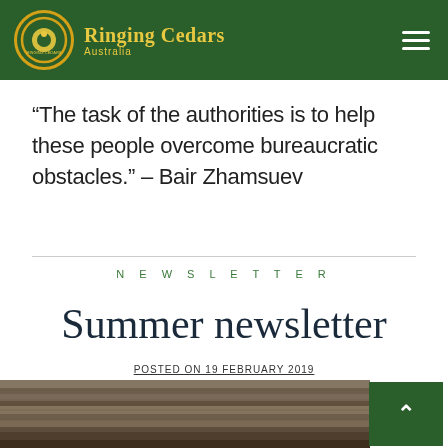Ringing Cedars Australia
“The task of the authorities is to help these people overcome bureaucratic obstacles.” – Bair Zhamsuev
NEWSLETTER
Summer newsletter
POSTED ON 19 FEBRUARY 2019
[Figure (photo): Wooden surface photo strip at the bottom of the page]